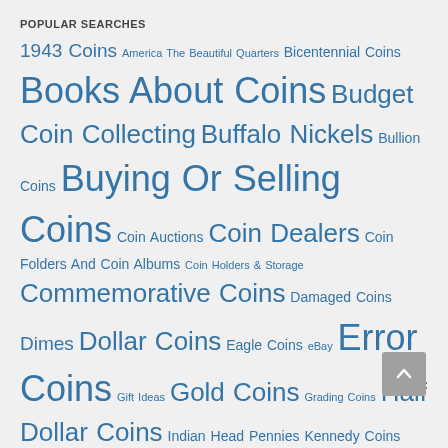POPULAR SEARCHES
1943 Coins America The Beautiful Quarters Bicentennial Coins Books About Coins Budget Coin Collecting Buffalo Nickels Bullion Coins Buying Or Selling Coins Coin Auctions Coin Dealers Coin Folders And Coin Albums Coin Holders & Storage Commemorative Coins Damaged Coins Dimes Dollar Coins Eagle Coins eBay Error Coins Gift Ideas Gold Coins Grading Coins Half Dollar Coins Indian Head Pennies Kennedy Coins Kids Collecting Coins Lincoln Cents Mintmarks Mint Sets Nickels Novelty Coins Pennies Pocket Change Presidential Dollars Proof Sets